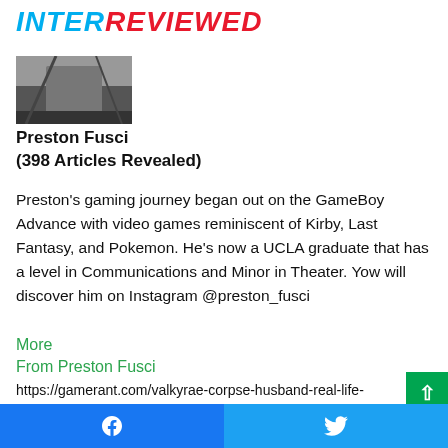INTERREVIEWED
[Figure (photo): Partial photo of a person, dark background, cropped at top]
Preston Fusci
(398 Articles Revealed)
Preston's gaming journey began out on the GameBoy Advance with video games reminiscent of Kirby, Last Fantasy, and Pokemon. He's now a UCLA graduate that has a level in Communications and Minor in Theater. Yow will discover him on Instagram @preston_fusci
More
From Preston Fusci
https://gamerant.com/valkyrae-corpse-husband-real-life-